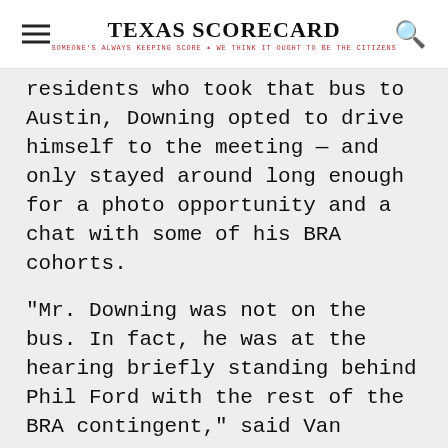TEXAS SCORECARD — SOMEONE'S ALWAYS KEEPING SCORE. WE THINK IT OUGHT TO BE THE CITIZENS
residents who took that bus to Austin, Downing opted to drive himself to the meeting — and only stayed around long enough for a photo opportunity and a chat with some of his BRA cohorts.
“Mr. Downing was not on the bus. In fact, he was at the hearing briefly standing behind Phil Ford with the rest of the BRA contingent,” said Van